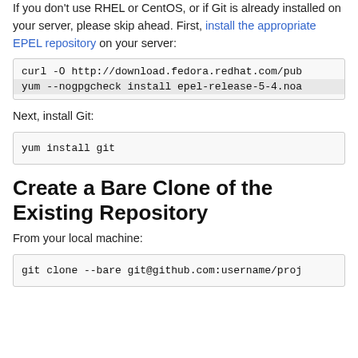If you don't use RHEL or CentOS, or if Git is already installed on your server, please skip ahead. First, install the appropriate EPEL repository on your server:
curl -O http://download.fedora.redhat.com/pub
yum --nogpgcheck install epel-release-5-4.noa
Next, install Git:
yum install git
Create a Bare Clone of the Existing Repository
From your local machine:
git clone --bare git@github.com:username/proj